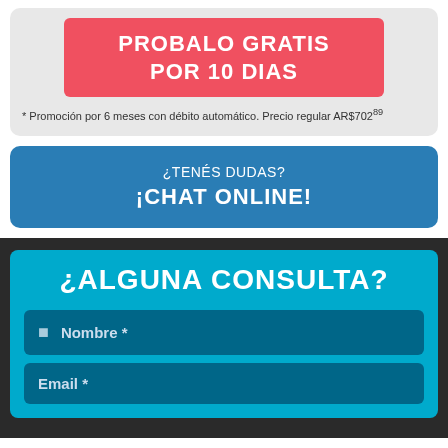PROBALO GRATIS POR 10 DIAS
* Promoción por 6 meses con débito automático. Precio regular AR$70289
¿TENÉS DUDAS? ¡CHAT ONLINE!
¿ALGUNA CONSULTA?
Nombre *
Email *